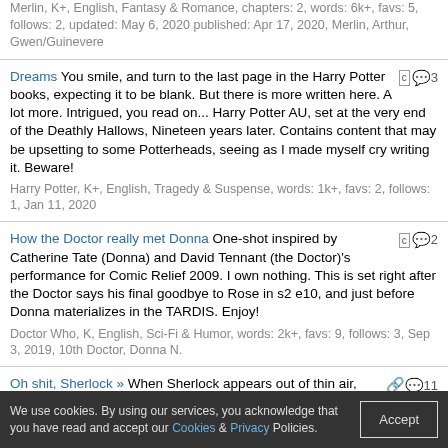Merlin, K+, English, Fantasy & Romance, chapters: 2, words: 6k+, favs: 5, follows: 2, updated: May 6, 2020 published: Apr 17, 2020, Merlin, Arthur, Gwen/Guinevere
Dreams You smile, and turn to the last page in the Harry Potter books, expecting it to be blank. But there is more written here. A lot more. Intrigued, you read on... Harry Potter AU, set at the very end of the Deathly Hallows, Nineteen years later. Contains content that may be upsetting to some Potterheads, seeing as I made myself cry writing it. Beware! Harry Potter, K+, English, Tragedy & Suspense, words: 1k+, favs: 2, follows: 1, Jan 11, 2020
How the Doctor really met Donna One-shot inspired by Catherine Tate (Donna) and David Tennant (the Doctor)'s performance for Comic Relief 2009. I own nothing. This is set right after the Doctor says his final goodbye to Rose in s2 e10, and just before Donna materializes in the TARDIS. Enjoy! Doctor Who, K, English, Sci-Fi & Humor, words: 2k+, favs: 9, follows: 3, Sep 3, 2019, 10th Doctor, Donna N.
Oh shit, Sherlock » When Sherlock appears out of thin air, nobody can explain why he looks exactly like our resident wizard. Speaking of which, where's the wizard? Contains strong language Sherlock & Avengers, T, English, Adventure & Mystery, chapters: 3, words: 2k+, favs: 68, follows: 85, updated: Aug 25, 2019 published: Jun 3, 2019, Sherlock H., John W., Iron Man/Tony S., Dr. Strange/Stephen S.
We use cookies. By using our services, you acknowledge that you have read and accept our Cookies & Privacy Policies.